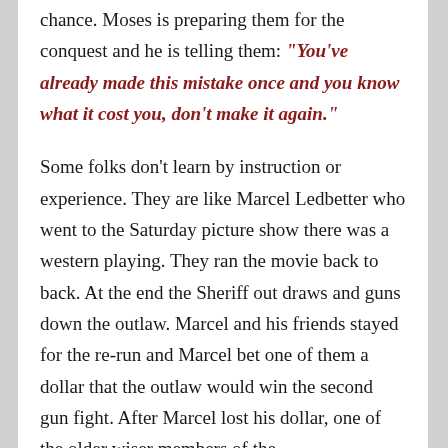chance. Moses is preparing them for the conquest and he is telling them: "You've already made this mistake once and you know what it cost you, don't make it again."
Some folks don't learn by instruction or experience. They are like Marcel Ledbetter who went to the Saturday picture show there was a western playing. They ran the movie back to back. At the end the Sheriff out draws and guns down the outlaw. Marcel and his friends stayed for the re-run and Marcel bet one of them a dollar that the outlaw would win the second gun fight. After Marcel lost his dollar, one of the older wiser members of the